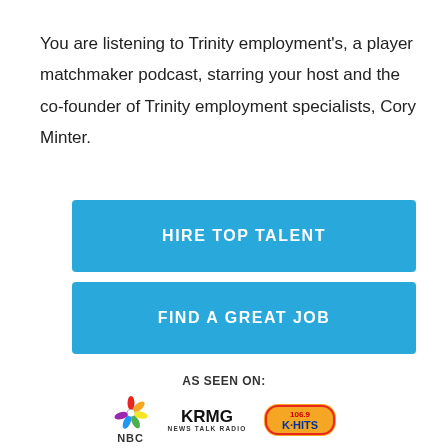You are listening to Trinity employment's, a player matchmaker podcast, starring your host and the co-founder of Trinity employment specialists, Cory Minter.
[Figure (other): Blue button labeled HIRE TOP TALENT]
[Figure (other): Blue button labeled FIND A GREAT JOB]
AS SEEN ON:
[Figure (logo): NBC peacock logo, KRMG News Talk Radio logo, 106.9 K-HITS logo]